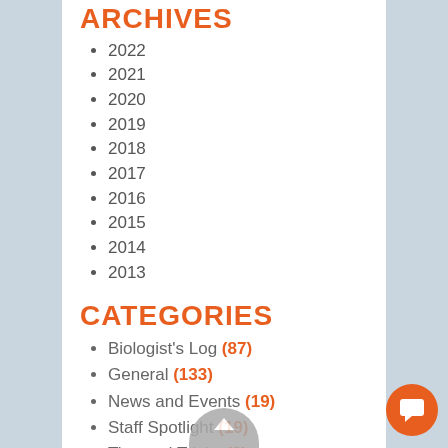ARCHIVES
2022
2021
2020
2019
2018
2017
2016
2015
2014
2013
CATEGORIES
Biologist's Log (87)
General (133)
News and Events (19)
Staff Spotlight (19)
Tips and Tricks (2)
SUBSCRIBE
Island Times RSS Feed